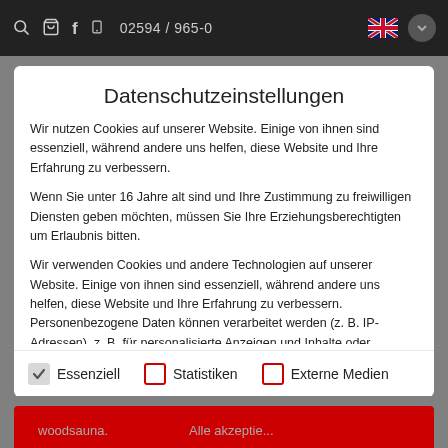🔍 🛒 f 📱 02594 / 965-0
Datenschutzeinstellungen
Wir nutzen Cookies auf unserer Website. Einige von ihnen sind essenziell, während andere uns helfen, diese Website und Ihre Erfahrung zu verbessern.
Wenn Sie unter 16 Jahre alt sind und Ihre Zustimmung zu freiwilligen Diensten geben möchten, müssen Sie Ihre Erziehungsberechtigten um Erlaubnis bitten.
Wir verwenden Cookies und andere Technologien auf unserer Website. Einige von ihnen sind essenziell, während andere uns helfen, diese Website und Ihre Erfahrung zu verbessern. Personenbezogene Daten können verarbeitet werden (z. B. IP-Adressen), z. B. für personalisierte Anzeigen und Inhalte oder
Essenziell
Statistiken
Externe Medien
woodsauna. Alle akzeptieren